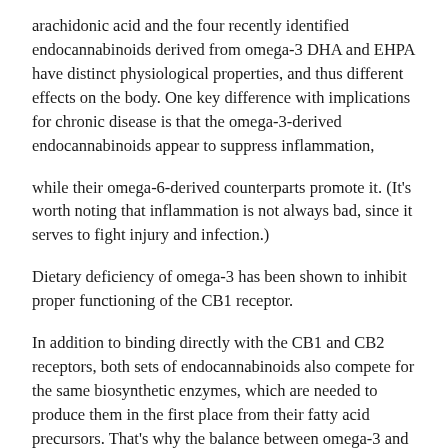arachidonic acid and the four recently identified endocannabinoids derived from omega-3 DHA and EHPA have distinct physiological properties, and thus different effects on the body. One key difference with implications for chronic disease is that the omega-3-derived endocannabinoids appear to suppress inflammation,
while their omega-6-derived counterparts promote it. (It's worth noting that inflammation is not always bad, since it serves to fight injury and infection.)
Dietary deficiency of omega-3 has been shown to inhibit proper functioning of the CB1 receptor.
In addition to binding directly with the CB1 and CB2 receptors, both sets of endocannabinoids also compete for the same biosynthetic enzymes, which are needed to produce them in the first place from their fatty acid precursors. That's why the balance between omega-3 and omega-6 in the diet can be seen as a zero-sum game: when one goes up, the other goes down.
And this isn't just in theory; researchers have watched it happen: "A large body of evidence, comprising of in vitro, animal, and